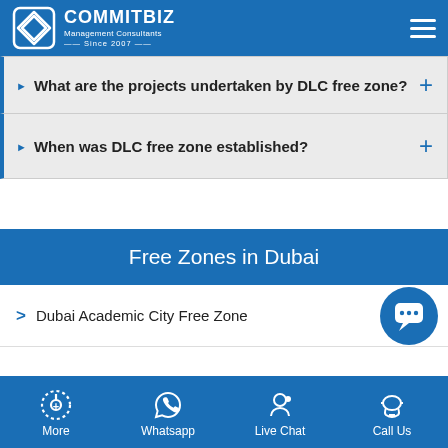COMMITBIZ Management Consultants — Since 2007 —
What are the projects undertaken by DLC free zone?
When was DLC free zone established?
Free Zones in Dubai
Dubai Academic City Free Zone
More | Whatsapp | Live Chat | Call Us